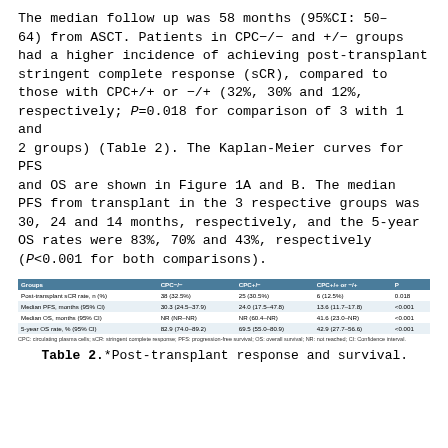The median follow up was 58 months (95%CI: 50–64) from ASCT. Patients in CPC−/− and +/− groups had a higher incidence of achieving post-transplant stringent complete response (sCR), compared to those with CPC+/+ or −/+ (32%, 30% and 12%, respectively; P=0.018 for comparison of 3 with 1 and 2 groups) (Table 2). The Kaplan-Meier curves for PFS and OS are shown in Figure 1A and B. The median PFS from transplant in the 3 respective groups was 30, 24 and 14 months, respectively, and the 5-year OS rates were 83%, 70% and 43%, respectively (P<0.001 for both comparisons).
| Groups | CPC−/− | CPC+/− | CPC+/+ or −/+ | P |
| --- | --- | --- | --- | --- |
| Post-transplant sCR rate, n (%) | 38 (32.5%) | 25 (30.5%) | 6 (12.5%) | 0.018 |
| Median PFS, months (95% CI) | 30.3 (24.5–37.9) | 24.0 (17.5–47.8) | 13.6 (11.7–17.8) | <0.001 |
| Median OS, months (95% CI) | NR (NR–NR) | NR (60.4–NR) | 41.6 (23.0–NR) | <0.001 |
| 5-year OS rate, % (95% CI) | 82.9 (74.0–89.2) | 69.5 (55.0–80.9) | 42.9 (27.7–56.6) | <0.001 |
CPC: circulating plasma cells; sCR: stringent complete response; PFS: progression-free survival; OS: overall survival; NR: not reached; CI: Confidence interval.
Table 2.*Post-transplant response and survival.